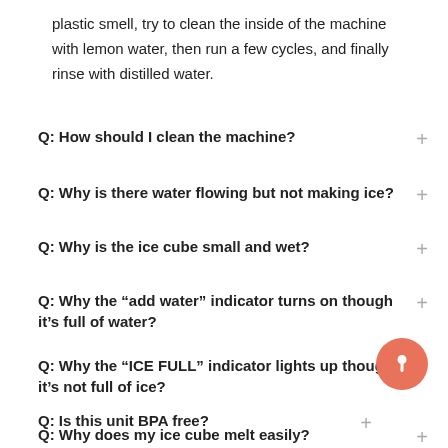plastic smell, try to clean the inside of the machine with lemon water, then run a few cycles, and finally rinse with distilled water.
Q: How should I clean the machine?
Q: Why is there water flowing but not making ice?
Q: Why is the ice cube small and wet?
Q: Why the “add water” indicator turns on though it’s full of water?
Q: Why the “ICE FULL” indicator lights up though it’s not full of ice?
Q: Is this unit BPA free?
Q: Why does my ice cube melt easily?